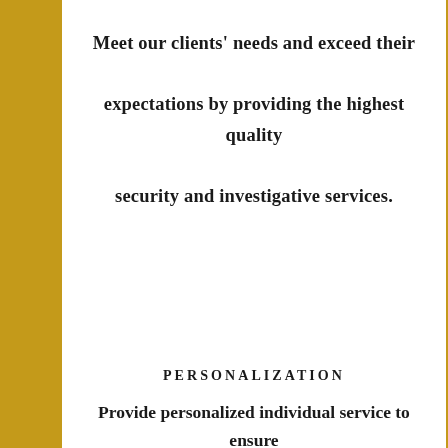Meet our clients' needs and exceed their expectations by providing the highest quality security and investigative services.
PERSONALIZATION
Provide personalized individual service to ensure